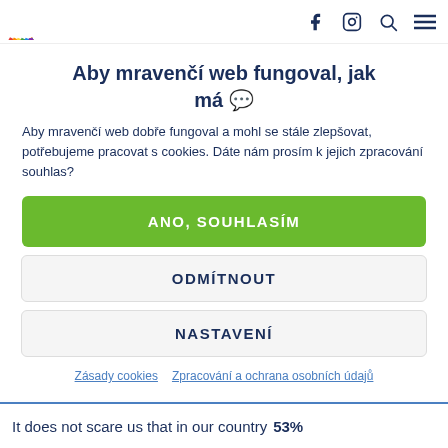Navigation header with logo, social icons (Facebook, Instagram), search, and menu
Aby mravančí web fungoval, jak má 🐜
Aby mravenčí web dobře fungoval a mohl se stále zlepšovat, potřebujeme pracovat s cookies. Dáte nám prosím k jejich zpracování souhlas?
ANO, SOUHLASÍM
ODMÍTNOUT
NASTAVENÍ
Zásady cookies   Zpracování a ochrana osobních údajů
It does not scare us that in our country 53%